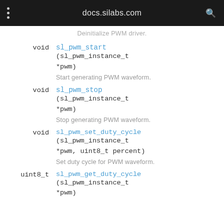docs.silabs.com
Deinitialize PWM driver.
void sl_pwm_start (sl_pwm_instance_t *pwm)
Start generating PWM waveform.
void sl_pwm_stop (sl_pwm_instance_t *pwm)
Stop generating PWM waveform.
void sl_pwm_set_duty_cycle (sl_pwm_instance_t *pwm, uint8_t percent)
Set duty cycle for PWM waveform.
uint8_t sl_pwm_get_duty_cycle (sl_pwm_instance_t *pwm)